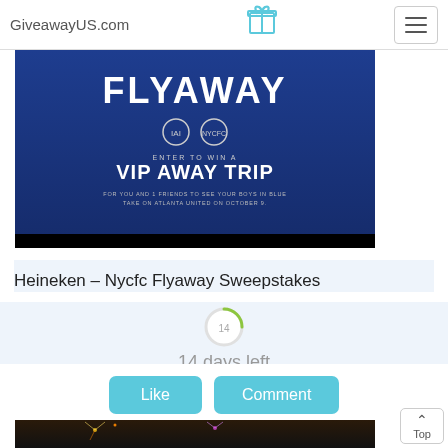GiveawayUS.com
[Figure (photo): Dark blue banner for Heineken NYCFC Flyaway sweepstakes showing 'FLYAWAY' text, two team logos, and 'ENTER TO WIN A VIP AWAY TRIP FOR YOU AND 1 FRIENDS TO SEE YOUR BOYS IN BLUE TAKE ON ATLANTA UNITED ON OCTOBER 9.']
Heineken – Nycfc Flyaway Sweepstakes
14 days left
Like
Comment
[Figure (photo): Fireworks display image at the bottom of the page, partially cropped]